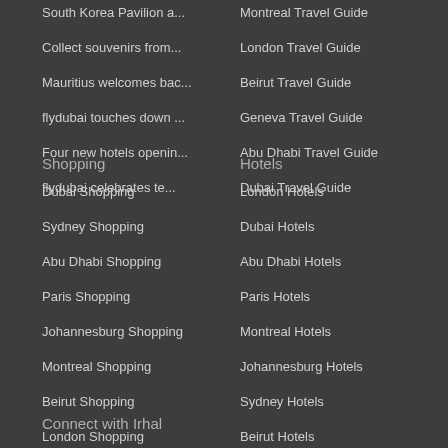South Korea Pavilion a...
Montreal Travel Guide
Collect souvenirs from...
London Travel Guide
Mauritius welcomes bac...
Beirut Travel Guide
flydubai touches down ...
Geneva Travel Guide
Four new hotels openin...
Abu Dhabi Travel Guide
flydubai celebrates te...
Dubai Travel Guide
Shopping
Hotels
Dubai Shopping
London Hotels
Sydney Shopping
Dubai Hotels
Abu Dhabi Shopping
Abu Dhabi Hotels
Paris Shopping
Paris Hotels
Johannesburg Shopping
Montreal Hotels
Montreal Shopping
Johannesburg Hotels
Beirut Shopping
Sydney Hotels
London Shopping
Beirut Hotels
Connect with Irhal